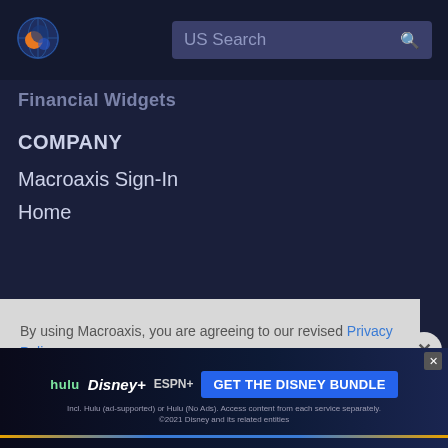[Figure (logo): Macroaxis logo - circular icon with blue and orange design]
US Search
Financial Widgets
COMPANY
Macroaxis Sign-In
Home
By using Macroaxis, you are agreeing to our revised Privacy Policy
OK
[Figure (screenshot): Disney Bundle advertisement banner - Hulu, Disney+, ESPN+, GET THE DISNEY BUNDLE. Incl. Hulu (ad-supported) or Hulu (No Ads). Access content from each service separately. ©2021 Disney and its related entities]